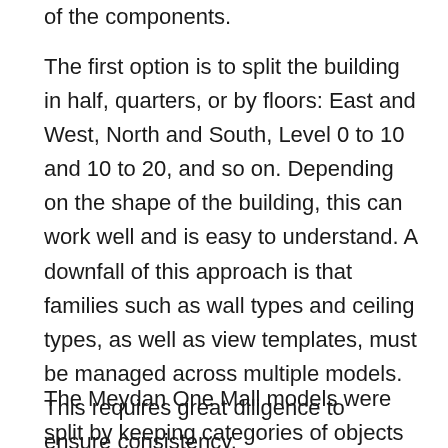of the components.
The first option is to split the building in half, quarters, or by floors: East and West, North and South, Level 0 to 10 and 10 to 20, and so on. Depending on the shape of the building, this can work well and is easy to understand. A downfall of this approach is that families such as wall types and ceiling types, as well as view templates, must be managed across multiple models. This requires great diligence to ensure consistency.
The Meydan One Mall models were split by keeping categories of objects in the